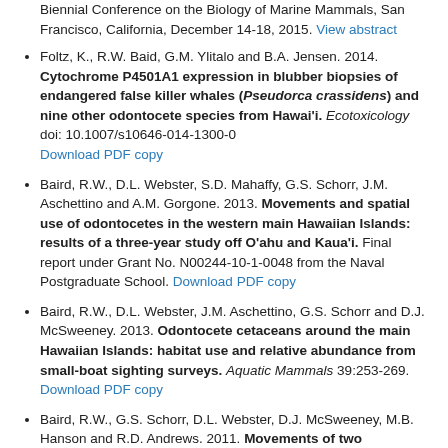Biennial Conference on the Biology of Marine Mammals, San Francisco, California, December 14-18, 2015. View abstract
Foltz, K., R.W. Baid, G.M. Ylitalo and B.A. Jensen. 2014. Cytochrome P4501A1 expression in blubber biopsies of endangered false killer whales (Pseudorca crassidens) and nine other odontocete species from Hawai'i. Ecotoxicology doi: 10.1007/s10646-014-1300-0 Download PDF copy
Baird, R.W., D.L. Webster, S.D. Mahaffy, G.S. Schorr, J.M. Aschettino and A.M. Gorgone. 2013. Movements and spatial use of odontocetes in the western main Hawaiian Islands: results of a three-year study off O'ahu and Kaua'i. Final report under Grant No. N00244-10-1-0048 from the Naval Postgraduate School. Download PDF copy
Baird, R.W., D.L. Webster, J.M. Aschettino, G.S. Schorr and D.J. McSweeney. 2013. Odontocete cetaceans around the main Hawaiian Islands: habitat use and relative abundance from small-boat sighting surveys. Aquatic Mammals 39:253-269. Download PDF copy
Baird, R.W., G.S. Schorr, D.L. Webster, D.J. McSweeney, M.B. Hanson and R.D. Andrews. 2011. Movements of two